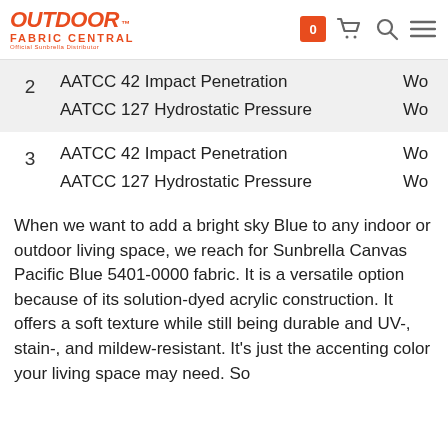OUTDOOR FABRIC CENTRAL - Official Sunbrella Distributor
| # | Test | Result |
| --- | --- | --- |
| 2 | AATCC 42 Impact Penetration | Wo |
| 2 | AATCC 127 Hydrostatic Pressure | Wo |
| 3 | AATCC 42 Impact Penetration | Wo |
| 3 | AATCC 127 Hydrostatic Pressure | Wo |
When we want to add a bright sky Blue to any indoor or outdoor living space, we reach for Sunbrella Canvas Pacific Blue 5401-0000 fabric. It is a versatile option because of its solution-dyed acrylic construction. It offers a soft texture while still being durable and UV-, stain-, and mildew-resistant. It's just the accenting color your living space may need. So